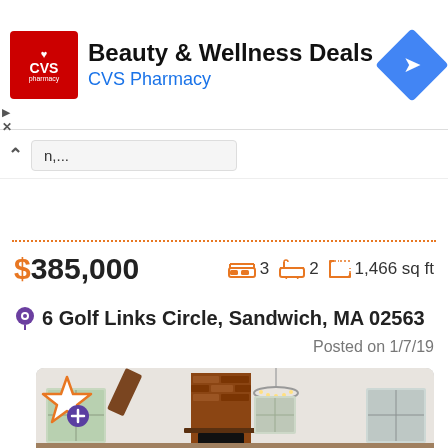[Figure (screenshot): CVS Pharmacy advertisement banner with logo, 'Beauty & Wellness Deals' text, and navigation arrow icon]
n,...
$385,000   🛏3  🛁2  ↔ 1,466 sq ft
📍 6 Golf Links Circle, Sandwich, MA 02563
Posted on 1/7/19
[Figure (photo): Interior photo of a living room with vaulted ceiling, exposed wooden beam, brick fireplace, chandelier, and windows]